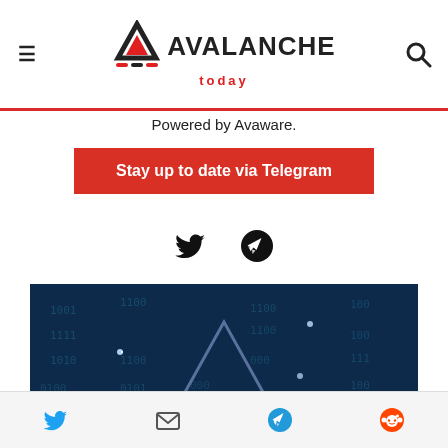AVALANCHE today — Powered by Avaware.
Powered by Avaware.
Stay up to date via Telegram
[Figure (illustration): Social icons: Twitter bird and Telegram paper plane in black]
[Figure (illustration): Article image: colorful crypto/blockchain logo on blue binary code background]
Social share icons: Twitter, Email, Telegram, Reddit